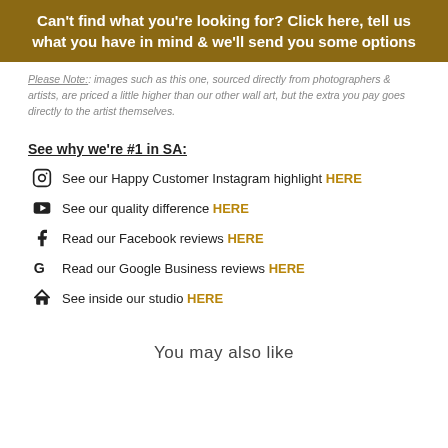Can't find what you're looking for? Click here, tell us what you have in mind & we'll send you some options
Please Note:: images such as this one, sourced directly from photographers & artists, are priced a little higher than our other wall art, but the extra you pay goes directly to the artist themselves.
See why we're #1 in SA:
See our Happy Customer Instagram highlight HERE
See our quality difference HERE
Read our Facebook reviews HERE
Read our Google Business reviews HERE
See inside our studio HERE
You may also like